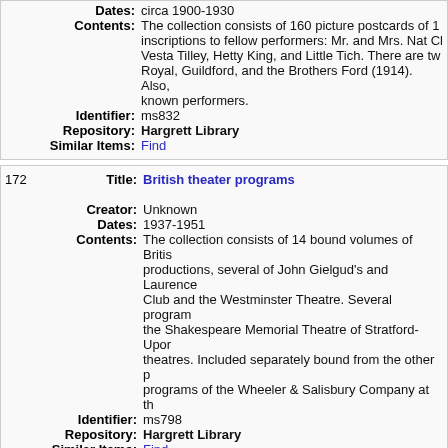Dates: circa 1900-1930
Contents: The collection consists of 160 picture postcards of 1... inscriptions to fellow performers: Mr. and Mrs. Nat Cl... Vesta Tilley, Hetty King, and Little Tich. There are tw... Royal, Guildford, and the Brothers Ford (1914). Also, known performers.
Identifier: ms832
Repository: Hargrett Library
Similar Items: Find
172 Title: British theater programs
Creator: Unknown
Dates: 1937-1951
Contents: The collection consists of 14 bound volumes of Briti... productions, several of John Gielgud's and Laurence... Club and the Westminster Theatre. Several program... the Shakespeare Memorial Theatre of Stratford-Upo... theatres. Included separately bound from the other p... programs of the Wheeler & Salisbury Company at th...
Identifier: ms798
Repository: Hargrett Library
Similar Items: Find
173 Title: British Theatre broadsides
Creator: Unknown